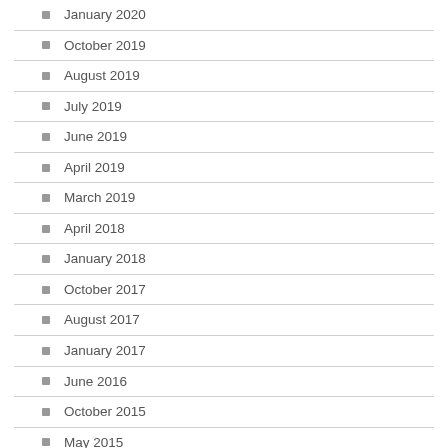January 2020
October 2019
August 2019
July 2019
June 2019
April 2019
March 2019
April 2018
January 2018
October 2017
August 2017
January 2017
June 2016
October 2015
May 2015